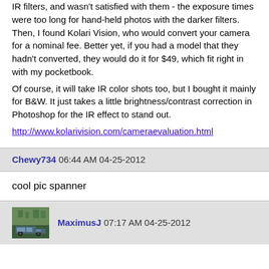IR filters, and wasn't satisfied with them - the exposure times were too long for hand-held photos with the darker filters. Then, I found Kolari Vision, who would convert your camera for a nominal fee. Better yet, if you had a model that they hadn't converted, they would do it for $49, which fit right in with my pocketbook. Of course, it will take IR color shots too, but I bought it mainly for B&W. It just takes a little brightness/contrast correction in Photoshop for the IR effect to stand out.
http://www.kolarivision.com/cameraevaluation.html
Chewy734 06:44 AM 04-25-2012
cool pic spanner
MaximusJ 07:17 AM 04-25-2012